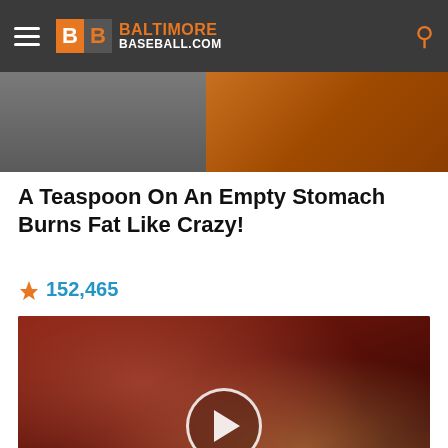Baltimore Baseball.com
[Figure (photo): Cropped image strip showing partial person on left and spice/food texture on right]
A Teaspoon On An Empty Stomach Burns Fat Like Crazy!
🔥 152,465
[Figure (photo): Medical/anatomical video thumbnail showing internal organs with a play button overlay]
What They Didn't Want You Knowing About Metformin